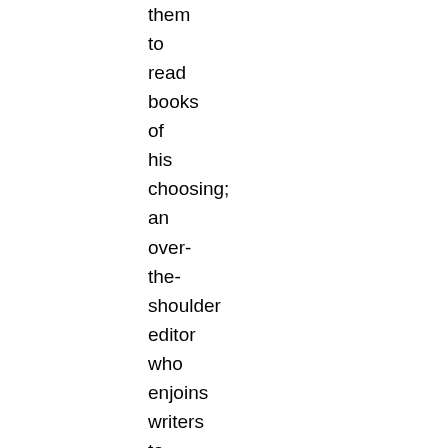them to read books of his choosing; an over-the-shoulder editor who enjoins writers to employ “cannonball” diction; a wealthy spendthrift who